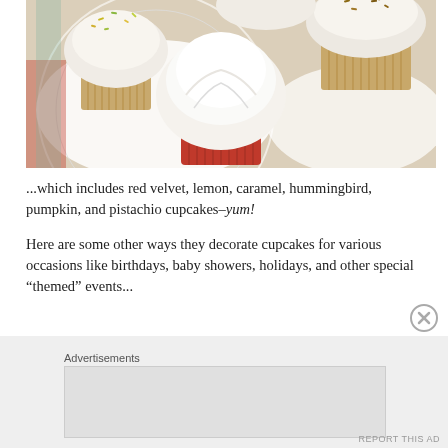[Figure (photo): Close-up photo of several cupcakes with white frosting on a lace doily. One cupcake in the center has a red wrapper and swirled white frosting, others have tan/gold wrappers with sprinkled toppings.]
...which includes red velvet, lemon, caramel, hummingbird, pumpkin, and pistachio cupcakes–yum!
Here are some other ways they decorate cupcakes for various occasions like birthdays, baby showers, holidays, and other special “themed” events...
Advertisements